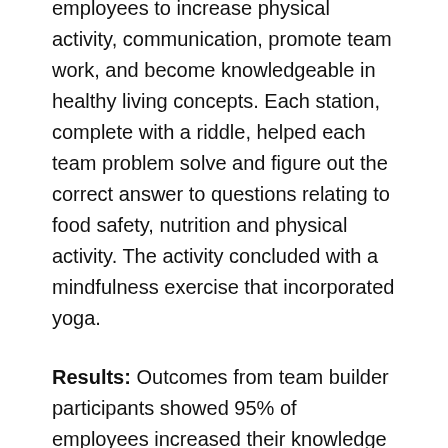Extensions' campus that encouraged employees to increase physical activity, communication, promote team work, and become knowledgeable in healthy living concepts. Each station, complete with a riddle, helped each team problem solve and figure out the correct answer to questions relating to food safety, nutrition and physical activity. The activity concluded with a mindfulness exercise that incorporated yoga.
Results: Outcomes from team builder participants showed 95% of employees increased their knowledge on the importance of physical activity and learned techniques to build a healthy plate on a budget, using MyPlate concepts. From a broader economic